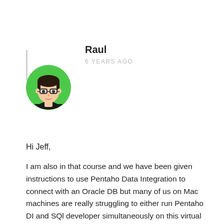[Figure (illustration): Circular avatar with green background showing an animated male character with dark hair and glasses wearing a black outfit]
Raul
6 YEARS AGO
Hi Jeff,
I am also in that course and we have been given instructions to use Pentaho Data Integration to connect with an Oracle DB but many of us on Mac machines are really struggling to either run Pentaho DI and SQL developer simultaneously on this virtual box or connecting from our Mac machine to the Virtual Box so that we can use Pentaho DI outside of the Viertual Box. I keep getting errors when I try to modify the firewall too.